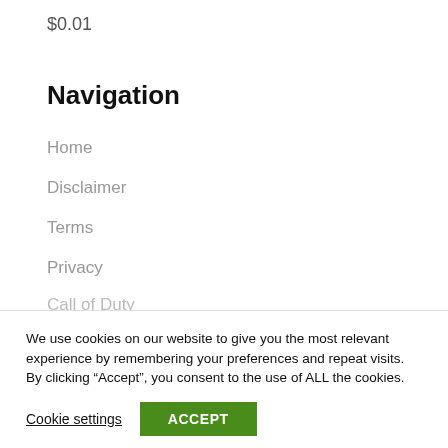$0.01
Navigation
Home
Disclaimer
Terms
Privacy
Call of Duty
We use cookies on our website to give you the most relevant experience by remembering your preferences and repeat visits. By clicking “Accept”, you consent to the use of ALL the cookies.
Cookie settings
ACCEPT